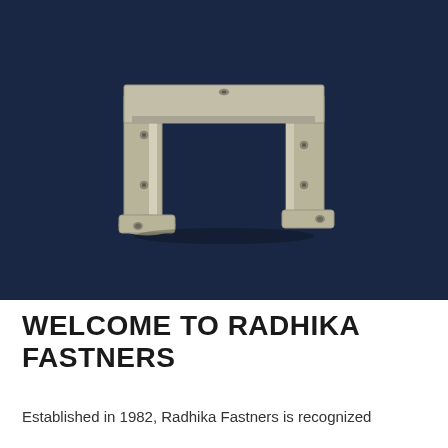[Figure (photo): A galvanized metal U-shaped bracket / saddle connector with mounting holes at the base flanges, photographed on a dark navy blue background.]
WELCOME TO RADHIKA FASTNERS
Established in 1982, Radhika Fastners is recognized